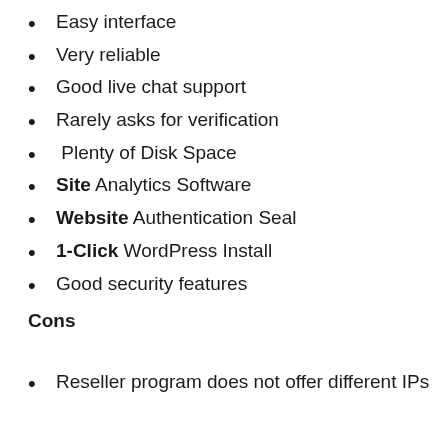Easy interface
Very reliable
Good live chat support
Rarely asks for verification
Plenty of Disk Space
Site Analytics Software
Website Authentication Seal
1-Click WordPress Install
Good security features
Cons
Reseller program does not offer different IPs